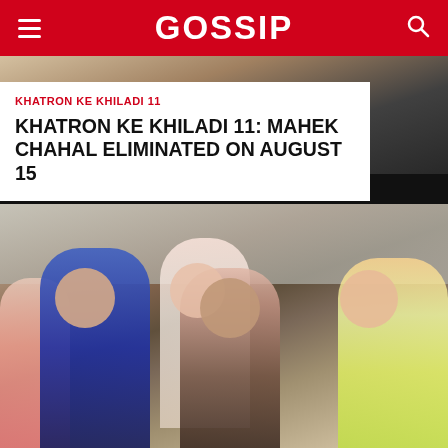GOSSIP
[Figure (photo): Cropped top photo showing people from a TV reality show, partially visible]
KHATRON KE KHILADI 11
KHATRON KE KHILADI 11: MAHEK CHAHAL ELIMINATED ON AUGUST 15
[Figure (photo): Group photo of Khatron Ke Khiladi 11 contestants laughing and posing together outdoors]